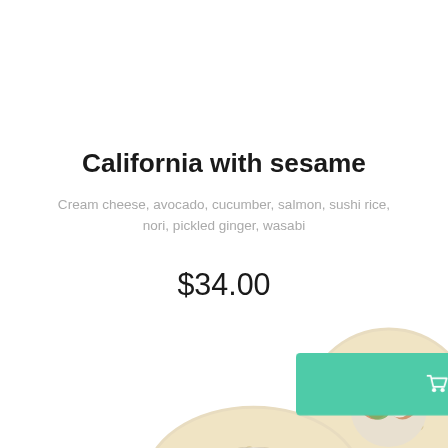California with sesame
Cream cheese, avocado, cucumber, salmon, sushi rice, nori, pickled ginger, wasabi
$34.00
[Figure (photo): California sushi rolls covered in sesame seeds, showing salmon, avocado, and cream cheese filling, arranged in a pile]
Buy
Learn more >